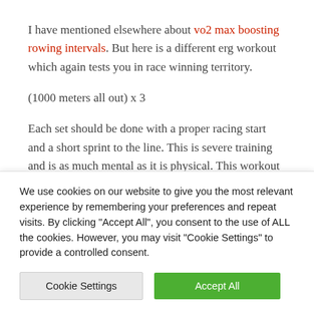I have mentioned elsewhere about vo2 max boosting rowing intervals. But here is a different erg workout which again tests you in race winning territory.
(1000 meters all out) x 3
Each set should be done with a proper racing start and a short sprint to the line. This is severe training and is as much mental as it is physical. This workout should only be attempted once per week for a few weeks
We use cookies on our website to give you the most relevant experience by remembering your preferences and repeat visits. By clicking "Accept All", you consent to the use of ALL the cookies. However, you may visit "Cookie Settings" to provide a controlled consent.
Cookie Settings
Accept All